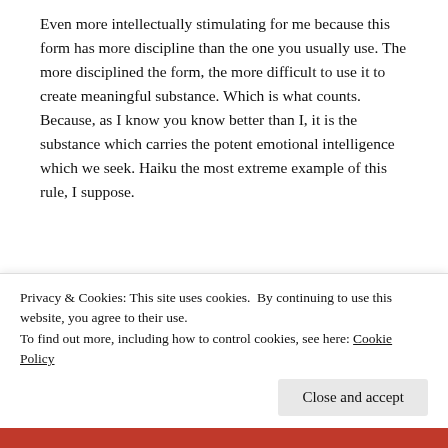Even more intellectually stimulating for me because this form has more discipline than the one you usually use. The more disciplined the form, the more difficult to use it to create meaningful substance. Which is what counts. Because, as I know you know better than I, it is the substance which carries the potent emotional intelligence which we seek. Haiku the most extreme example of this rule, I suppose.
Poet, wonderful. Sarah
★ Liked by 1 person
REPLY
Privacy & Cookies: This site uses cookies. By continuing to use this website, you agree to their use.
To find out more, including how to control cookies, see here: Cookie Policy
Close and accept